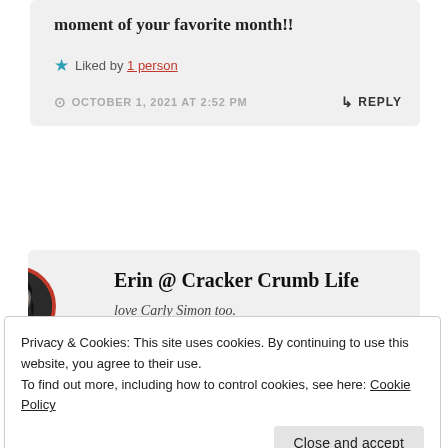moment of your favorite month!!
★ Liked by 1 person
OCTOBER 1, 2021 AT 2:52 PM
↳ REPLY
Erin @ Cracker Crumb Life
love Carly Simon too.
Privacy & Cookies: This site uses cookies. By continuing to use this website, you agree to their use.
To find out more, including how to control cookies, see here: Cookie Policy
Close and accept